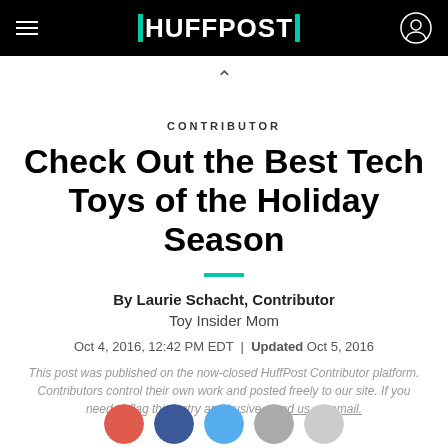HUFFPOST
Check Out the Best Tech Toys of the Holiday Season
CONTRIBUTOR
By Laurie Schacht, Contributor
Toy Insider Mom
Oct 4, 2016, 12:42 PM EDT | Updated Oct 5, 2016
This post was published on the now-closed HuffPost Contributor platform. Contributors control their own work and posted freely to our site. If you need to flag this entry as abusive, send us an email.